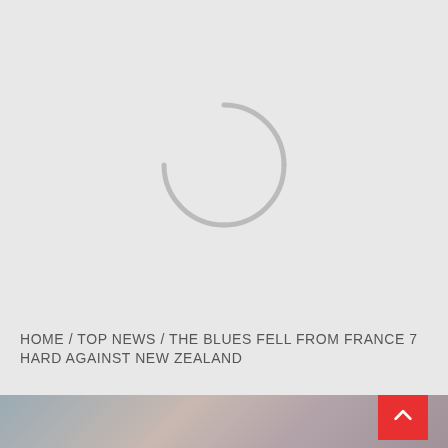[Figure (other): Loading spinner — a circular arc spinner in gray on a light gray background, indicating a page or image is loading]
HOME / TOP NEWS / THE BLUES FELL FROM FRANCE 7 HARD AGAINST NEW ZEALAND
[Figure (photo): Partial photo of a person's head/face, blurred background with red and blue tones — sports/rugby context]